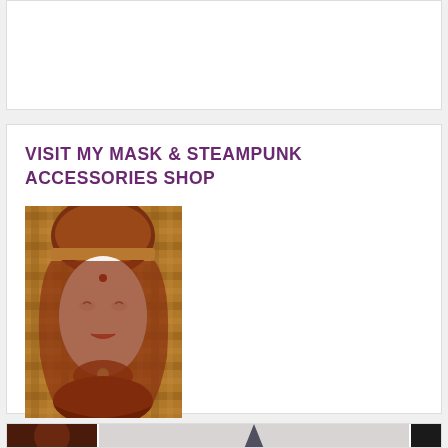[Figure (photo): White blank area / top section of webpage]
VISIT MY MASK & STEAMPUNK ACCESSORIES SHOP
[Figure (photo): A decorative mask with white face and copper/brown headwrap with jewelry, displayed against a woven background]
[Figure (photo): Bottom section showing partial images: a dark round object on the left, a gray/beige background with a dark pointed hat shape in the middle, and a dark vertical element on the right]